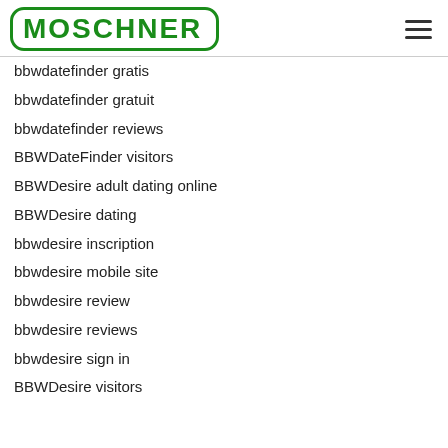[Figure (logo): MOSCHNER logo in green with rounded rectangle border]
bbwdatefinder gratis
bbwdatefinder gratuit
bbwdatefinder reviews
BBWDateFinder visitors
BBWDesire adult dating online
BBWDesire dating
bbwdesire inscription
bbwdesire mobile site
bbwdesire review
bbwdesire reviews
bbwdesire sign in
BBWDesire visitors